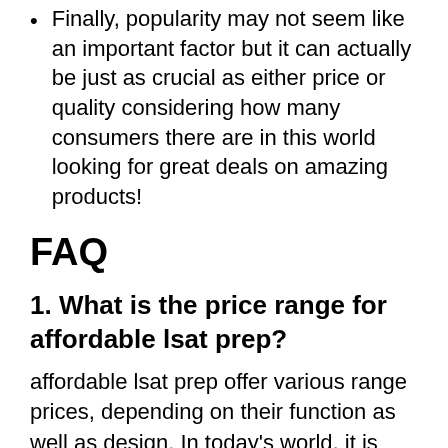Finally, popularity may not seem like an important factor but it can actually be just as crucial as either price or quality considering how many consumers there are in this world looking for great deals on amazing products!
FAQ
1. What is the price range for affordable lsat prep?
affordable lsat prep offer various range prices, depending on their function as well as design. In today's world, it is hard to know what a product will cost. You typically have